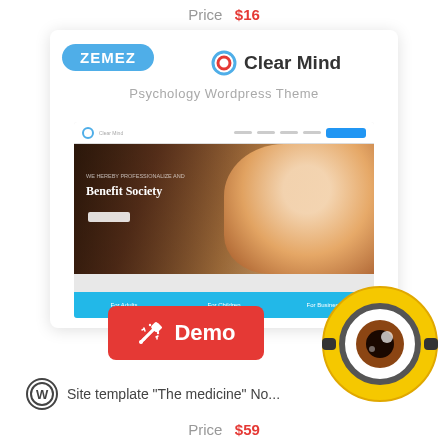Price  $16
[Figure (screenshot): Zemez Clear Mind Psychology WordPress Theme screenshot with demo button]
Site template "The medicine" No...
Price  $59